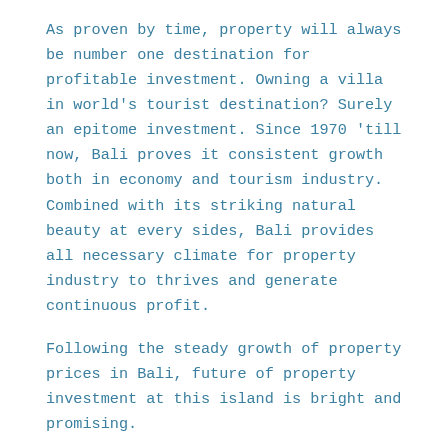As proven by time, property will always be number one destination for profitable investment. Owning a villa in world's tourist destination? Surely an epitome investment. Since 1970 'till now, Bali proves it consistent growth both in economy and tourism industry. Combined with its striking natural beauty at every sides, Bali provides all necessary climate for property industry to thrives and generate continuous profit.
Following the steady growth of property prices in Bali, future of property investment at this island is bright and promising.
POST PURCHASE: WHAT TO DO WITH YOUR VILLA
Buying a full furnished villas for sale in Bali is way more practical for busy investors. You got to run your own life while the properties are more than ready to refill our bank account, without troubles of supervising construction—if you